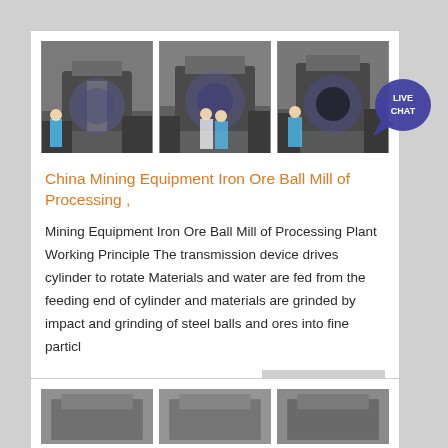[Figure (photo): Three side-by-side photos of a mining ball mill machine in an industrial facility]
China Mining Equipment Iron Ore Ball Mill of Processing ,
Mining Equipment Iron Ore Ball Mill of Processing Plant Working Principle The transmission device drives cylinder to rotate Materials and water are fed from the feeding end of cylinder and materials are grinded by impact and grinding of steel balls and ores into fine particl
[Figure (photo): Three side-by-side photos of mining equipment, partially visible at bottom of page]